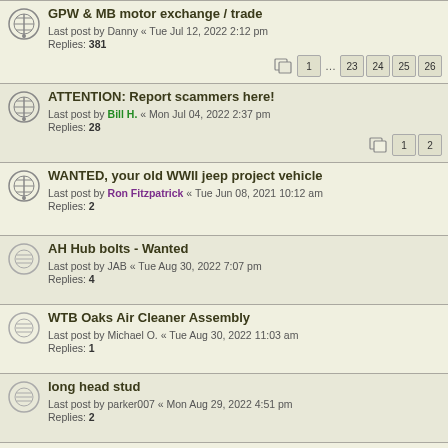GPW & MB motor exchange / trade
Last post by Danny « Tue Jul 12, 2022 2:12 pm
Replies: 381
Pages: 1 ... 23 24 25 26
ATTENTION: Report scammers here!
Last post by Bill H. « Mon Jul 04, 2022 2:37 pm
Replies: 28
Pages: 1 2
WANTED, your old WWII jeep project vehicle
Last post by Ron Fitzpatrick « Tue Jun 08, 2021 10:12 am
Replies: 2
AH Hub bolts - Wanted
Last post by JAB « Tue Aug 30, 2022 7:07 pm
Replies: 4
WTB Oaks Air Cleaner Assembly
Last post by Michael O. « Tue Aug 30, 2022 11:03 am
Replies: 1
long head stud
Last post by parker007 « Mon Aug 29, 2022 4:51 pm
Replies: 2
GPW Negative cable
Last post by nick peters « Mon Aug 29, 2022 12:57 am
Replies: 7
WTB - GPW Tub
Last post by barkerka « Sun Aug 28, 2022 7:10 am
Data plates
Last post by Alex ○•|||||||||•○ « Sun Aug 28, 2022 3:39 am
Replies: 2
Standardised War-Time Jeep book wanted
Last post by Limburger « Thu Aug 25, 2022 2:55 am
Replies: 1